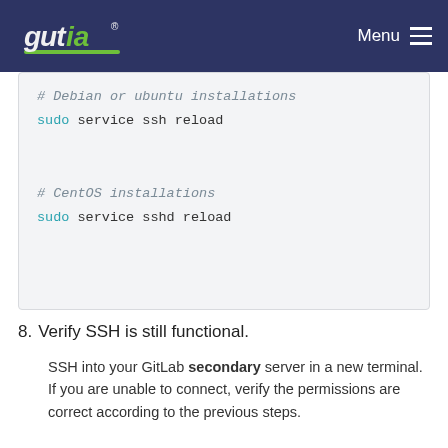gutia | Menu
# Debian or ubuntu installations
sudo service ssh reload

# CentOS installations
sudo service sshd reload
8. Verify SSH is still functional.
SSH into your GitLab secondary server in a new terminal. If you are unable to connect, verify the permissions are correct according to the previous steps.
Step 3. Add the secondary site
1. SSH into each Rails and Sidekiq node on your secondary site and login as root: